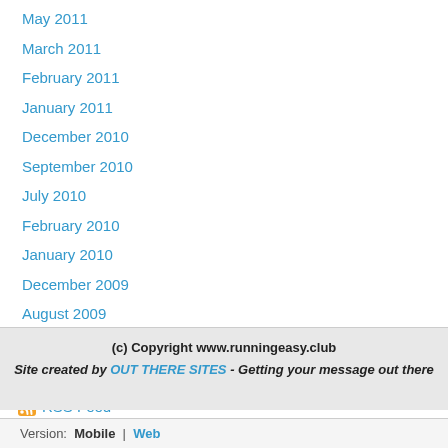May 2011
March 2011
February 2011
January 2011
December 2010
September 2010
July 2010
February 2010
January 2010
December 2009
August 2009
July 2009
June 2009
RSS Feed
(c) Copyright www.runningeasy.club
Site created by OUT THERE SITES - Getting your message out there
Version: Mobile | Web